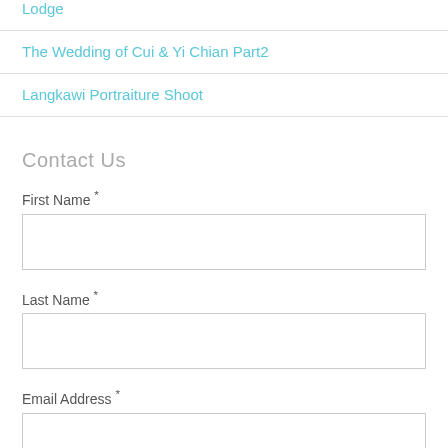Lodge
The Wedding of Cui & Yi Chian Part2
Langkawi Portraiture Shoot
Contact Us
First Name *
Last Name *
Email Address *